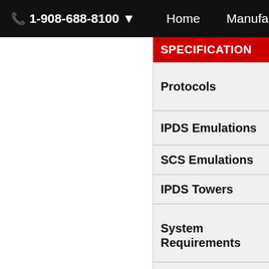1-908-688-8100   Home   Manufacturers
| SPECIFICATION |
| --- |
| Protocols |
| IPDS Emulations |
| SCS Emulations |
| IPDS Towers |
| System Requirements |
|  |